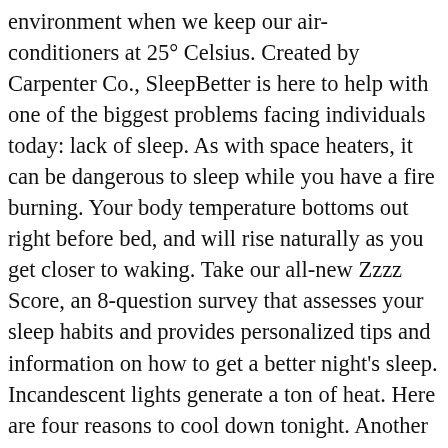environment when we keep our air-conditioners at 25° Celsius. Created by Carpenter Co., SleepBetter is here to help with one of the biggest problems facing individuals today: lack of sleep. As with space heaters, it can be dangerous to sleep while you have a fire burning. Your body temperature bottoms out right before bed, and will rise naturally as you get closer to waking. Take our all-new Zzzz Score, an 8-question survey that assesses your sleep habits and provides personalized tips and information on how to get a better night's sleep. Incandescent lights generate a ton of heat. Here are four reasons to cool down tonight. Another thing to note is that if you're using an electric blanket with your memory foam mattress or topper, expect the mattress or topper to get softer. As long as you feel comfortable, there are no health risks to sleeping in a colder room...